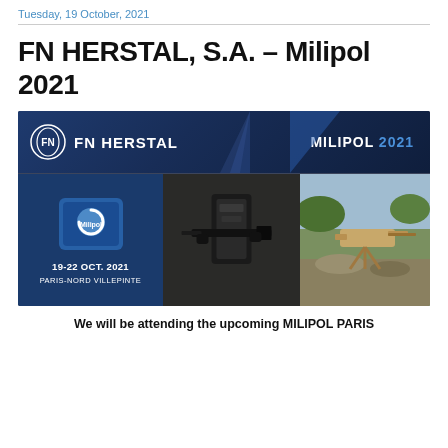Tuesday, 19 October, 2021
FN HERSTAL, S.A. – Milipol 2021
[Figure (photo): FN Herstal promotional banner for Milipol 2021 exhibition. Top dark navy bar with FN Herstal logo and 'MILIPOL 2021' text. Bottom row shows three panels: left panel with Milipol badge and '19-22 OCT. 2021 PARIS-NORD VILLEPINTE', center panel with armed soldier holding weapon, right panel with mounted weapon system outdoors.]
We will be attending the upcoming MILIPOL PARIS